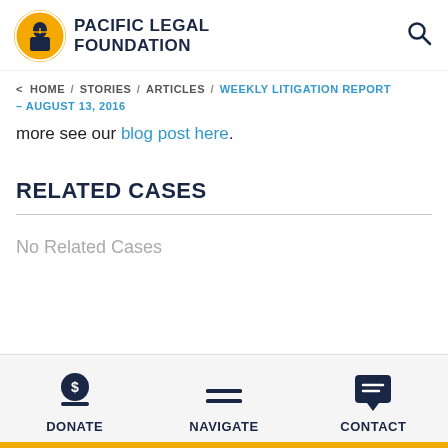[Figure (logo): Pacific Legal Foundation logo: circular yellow badge with figure holding scales of justice, beside bold dark blue text 'PACIFIC LEGAL FOUNDATION']
< HOME / STORIES / ARTICLES / WEEKLY LITIGATION REPORT – AUGUST 13, 2016
more see our blog post here.
RELATED CASES
No Related Cases
DONATE  NAVIGATE  CONTACT